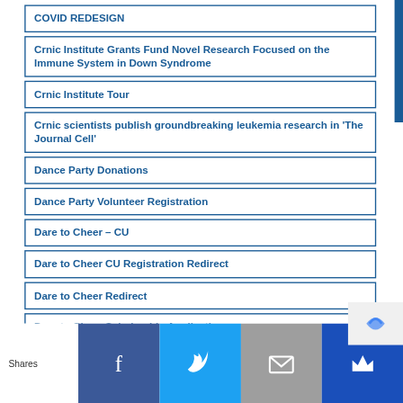COVID REDESIGN
Crnic Institute Grants Fund Novel Research Focused on the Immune System in Down Syndrome
Crnic Institute Tour
Crnic scientists publish groundbreaking leukemia research in 'The Journal Cell'
Dance Party Donations
Dance Party Volunteer Registration
Dare to Cheer – CU
Dare to Cheer CU Registration Redirect
Dare to Cheer Redirect
Dare to Cheer Scholarship Application
Shares  [Facebook] [Twitter] [Email] [Crown]